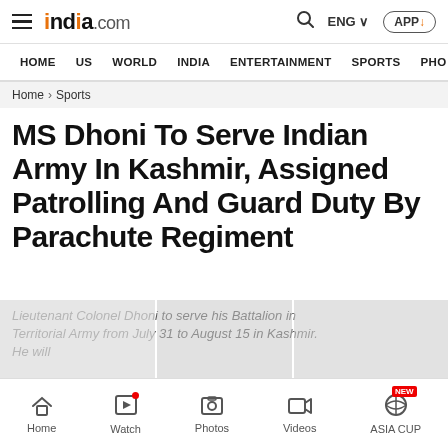india.com — HOME | US | WORLD | INDIA | ENTERTAINMENT | SPORTS | PHO
Home › Sports
MS Dhoni To Serve Indian Army In Kashmir, Assigned Patrolling And Guard Duty By Parachute Regiment
Lieutenant Colonel Dhoni to serve his Battalion in Territorial Army from July 31 to August 15 in Kashmir. He will...
Home | Watch | Photos | Videos | ASIA CUP